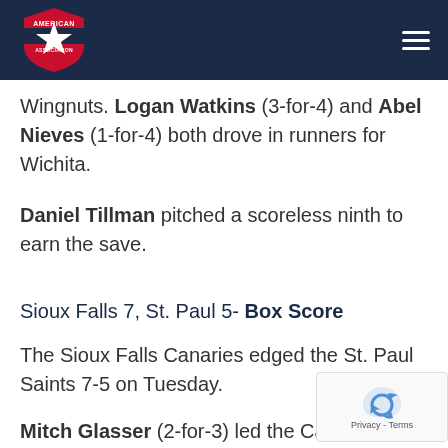American Association (logo) — navigation header
Wingnuts. Logan Watkins (3-for-4) and Abel Nieves (1-for-4) both drove in runners for Wichita.
Daniel Tillman pitched a scoreless ninth to earn the save.
Sioux Falls 7, St. Paul 5- Box Score
The Sioux Falls Canaries edged the St. Paul Saints 7-5 on Tuesday.
Mitch Glasser (2-for-3) led the Canaries wit…